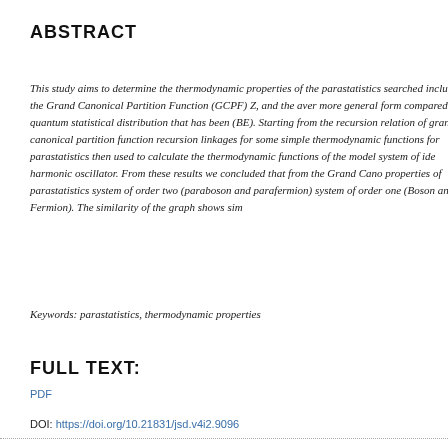ABSTRACT
This study aims to determine the thermodynamic properties of the parastatistics searched include the Grand Canonical Partition Function (GCPF) Z, and the aver more general form compared to quantum statistical distribution that has been (BE). Starting from the recursion relation of grand canonical partition function recursion linkages for some simple thermodynamic functions for parastatistics then used to calculate the thermodynamic functions of the model system of ide harmonic oscillator. From these results we concluded that from the Grand Cano properties of parastatistics system of order two (paraboson and parafermion) system of order one (Boson and Fermion). The similarity of the graph shows sim
Keywords: parastatistics, thermodynamic properties
FULL TEXT:
PDF
DOI: https://doi.org/10.21831/jsd.v4i2.9096